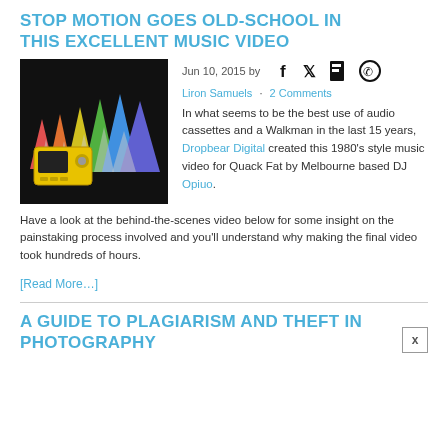STOP MOTION GOES OLD-SCHOOL IN THIS EXCELLENT MUSIC VIDEO
Jun 10, 2015 by Liron Samuels · 2 Comments
[Figure (photo): Dark background photo showing colorful triangular paper shapes and a yellow Walkman cassette player]
In what seems to be the best use of audio cassettes and a Walkman in the last 15 years, Dropbear Digital created this 1980's style music video for Quack Fat by Melbourne based DJ Opiuo.
Have a look at the behind-the-scenes video below for some insight on the painstaking process involved and you'll understand why making the final video took hundreds of hours.
[Read More…]
A GUIDE TO PLAGIARISM AND THEFT IN PHOTOGRAPHY